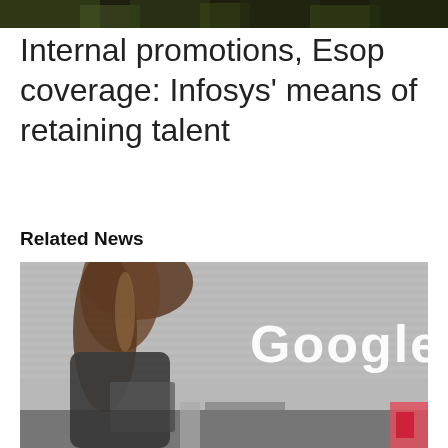[Figure (photo): Partial top strip of an outdoor photo, dark background with foliage visible at top]
Internal promotions, Esop coverage: Infosys' means of retaining talent
Related News
[Figure (photo): Person with long hair standing in front of a Google building sign. The Google logo is visible on a grey ribbed wall. A partial red element is visible at the bottom right.]